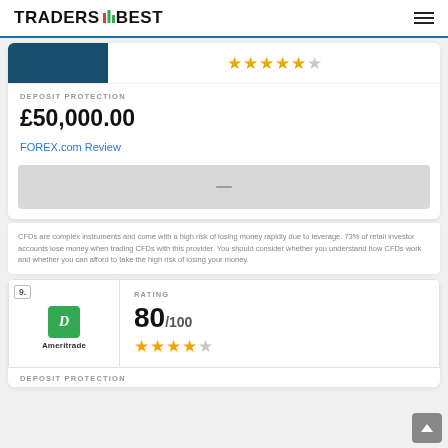TRADERS BEST
[Figure (other): Dark teal/blue button (partially visible)]
★★★★½
DEPOSIT PROTECTION
£50,000.00
FOREX.com Review
[Figure (other): Grey placeholder button/bar]
CFDs are complex instruments and come with a high risk of losing money rapidly due to leverage. 73% of retail investor accounts lose money when trading CFDs with this provider. You should consider whether you understand how CFDs work and whether you can afford to take the high risk of losing your money.
[Figure (other): TD Ameritrade logo with rank badge 9.]
RATING
80/100
★★★★½
DEPOSIT PROTECTION